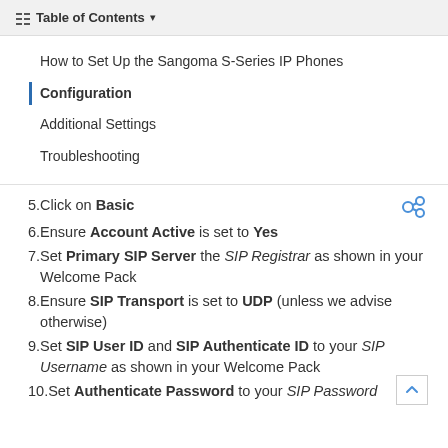Table of Contents
How to Set Up the Sangoma S-Series IP Phones
Configuration
Additional Settings
Troubleshooting
5. Click on Basic
6. Ensure Account Active is set to Yes
7. Set Primary SIP Server the SIP Registrar as shown in your Welcome Pack
8. Ensure SIP Transport is set to UDP (unless we advise otherwise)
9. Set SIP User ID and SIP Authenticate ID to your SIP Username as shown in your Welcome Pack
10. Set Authenticate Password to your SIP Password